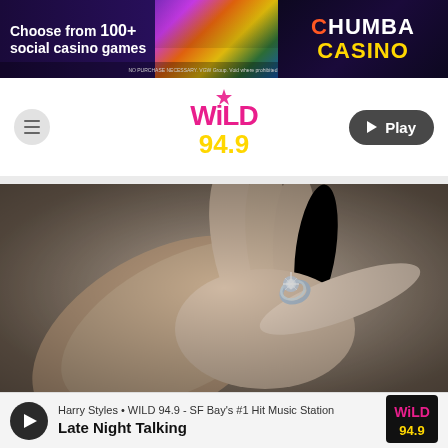[Figure (screenshot): Chumba Casino advertisement banner: 'Choose from 100+ social casino games' with colorful slot machine graphics and Chumba Casino logo]
[Figure (logo): WiLD 94.9 radio station logo - pink and yellow text with star accent]
[Figure (photo): Close-up photo of hands with a diamond engagement ring being placed on a finger]
Harry Styles • WILD 94.9 - SF Bay's #1 Hit Music Station
Late Night Talking
[Figure (logo): WiLD 94.9 small logo in now-playing bar]